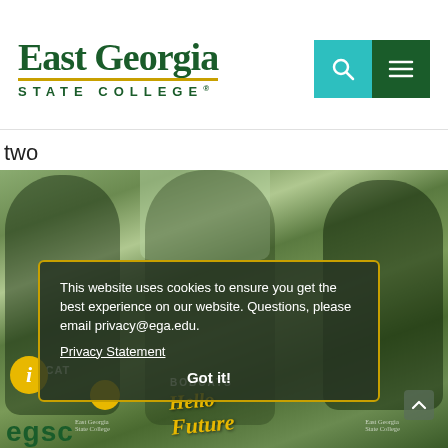[Figure (logo): East Georgia State College logo with green text and gold underline]
two
[Figure (photo): Three female athletes in green EGSC Bobcats jerseys holding signs including 'Hello Future', with cookie consent overlay]
This website uses cookies to ensure you get the best experience on our website. Questions, please email privacy@ega.edu.
Privacy Statement
Got it!